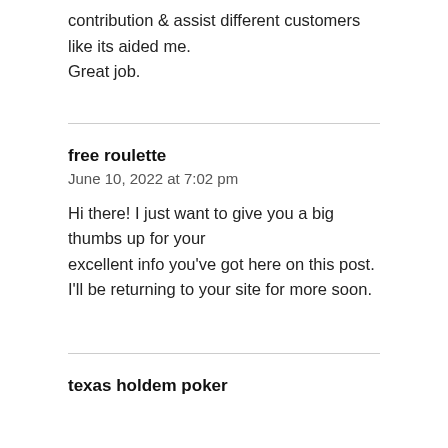contribution & assist different customers like its aided me.
Great job.
free roulette
June 10, 2022 at 7:02 pm
Hi there! I just want to give you a big thumbs up for your
excellent info you've got here on this post.
I'll be returning to your site for more soon.
texas holdem poker